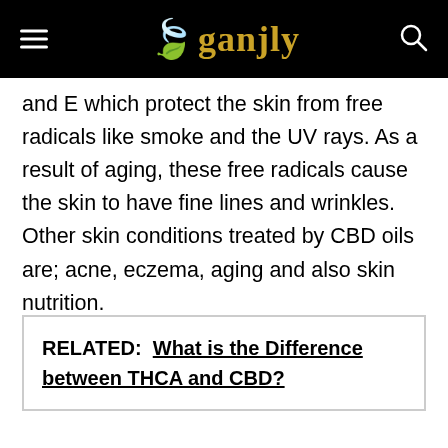Ganjly
and E which protect the skin from free radicals like smoke and the UV rays. As a result of aging, these free radicals cause the skin to have fine lines and wrinkles. Other skin conditions treated by CBD oils are; acne, eczema, aging and also skin nutrition.
RELATED:  What is the Difference between THCA and CBD?